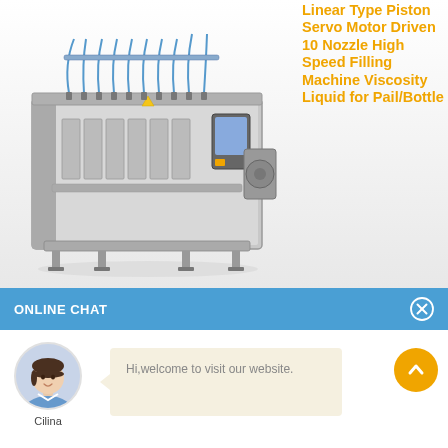[Figure (photo): Industrial linear type piston servo motor driven 10 nozzle high speed filling machine for viscosity liquid, stainless steel construction with multiple nozzles and tubes on top]
Linear Type Piston Servo Motor Driven 10 Nozzle High Speed Filling Machine Viscosity Liquid for Pail/Bottle
ONLINE CHAT
[Figure (photo): Avatar photo of a female customer service representative named Cilina]
Cilina
Hi,welcome to visit our website.